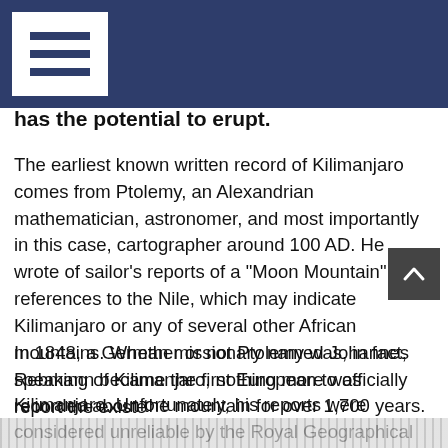has the potential to erupt.
The earliest known written record of Kilimanjaro comes from Ptolemy, an Alexandrian mathematician, astronomer, and most importantly in this case, cartographer around 100 AD. He wrote of sailor’s reports of a “Moon Mountain” with references to the Nile, which may indicate Kilimanjaro or any of several other African mountains. Whether or not Ptolemy was, in fact, speaking of Kilimanjaro, nothing more was recorded about the mountain for over 1,700 years.
In 1848, a German missionary named Johannes Rebmann became the first European to officially report the existence of Kilimanjaro. Unfortunately, his reports were considered unreliable by the Royal Geographical Society, and confirmation of Rebmann’s claims were not made until 1861.
[Figure (other): Bottom image strip placeholder]